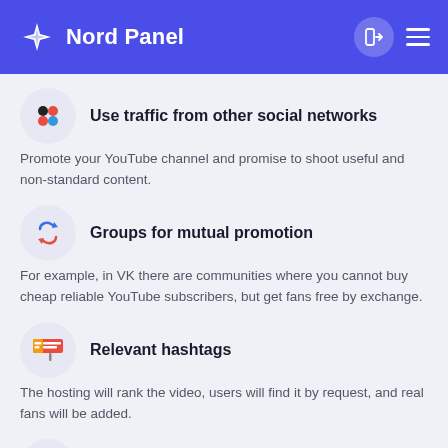Nord Panel
Use traffic from other social networks
Promote your YouTube channel and promise to shoot useful and non-standard content.
Groups for mutual promotion
For example, in VK there are communities where you cannot buy cheap reliable YouTube subscribers, but get fans free by exchange.
Relevant hashtags
The hosting will rank the video, users will find it by request, and real fans will be added.
Collaboration